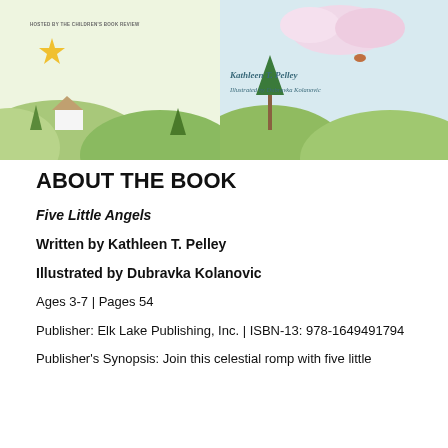[Figure (illustration): Banner image showing a children's book tour header. Left panel: illustrated pastoral scene with green hills, a white house, and a yellow star. Text reads 'HOSTED BY THE CHILDREN'S BOOK REVIEW'. Right panel: book cover for 'Five Little Angels' by Kathleen T. Pelley, illustrated by Dubravka Kolanovic, with clouds, hills, and a bird.]
ABOUT THE BOOK
Five Little Angels
Written by Kathleen T. Pelley
Illustrated by Dubravka Kolanovic
Ages 3-7 | Pages 54
Publisher: Elk Lake Publishing, Inc. | ISBN-13: 978-1649491794
Publisher's Synopsis: Join this celestial romp with five little